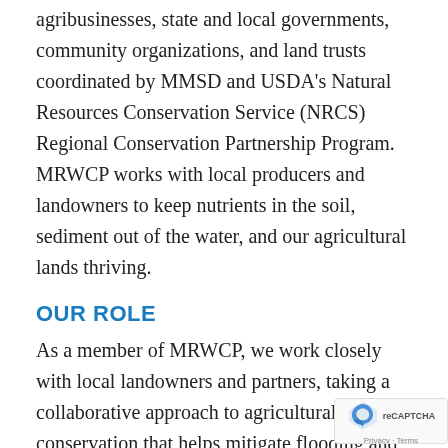agribusinesses, state and local governments, community organizations, and land trusts coordinated by MMSD and USDA's Natural Resources Conservation Service (NRCS) Regional Conservation Partnership Program. MRWCP works with local producers and landowners to keep nutrients in the soil, sediment out of the water, and our agricultural lands thriving.
OUR ROLE
As a member of MRWCP, we work closely with local landowners and partners, taking a collaborative approach to agricultural conservation that helps mitigate flooding and stormwater runoff downstream, improve soil quality and support s